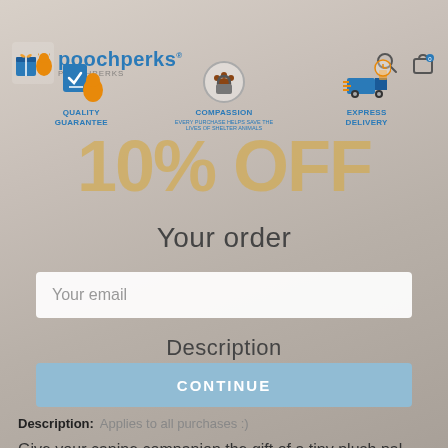[Figure (logo): Poochperks logo with dog icon and text]
[Figure (infographic): Three feature icons: Quality Guarantee (checkmark shield with dog), Compassion (unlock paw print), Express Delivery (delivery truck)]
[Figure (other): 10% OFF promotional text overlay in gold/tan color]
Your order
Your email
Description
CONTINUE
Description: Applies to all purchases :)
Give your canine companion the gift of a tiny plush pal with this Smart Pet Love Tender Tuff Tiny